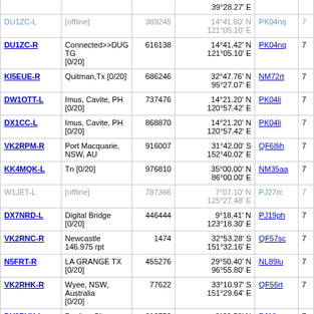| Callsign | Description | Node ID | Coordinates | Grid |  |
| --- | --- | --- | --- | --- | --- |
|  |  |  | 39°28.27' E |  |  |
| DU1ZC-L [offline] | [offline] | 389245 | 14°41.60' N
121°05.10' E | PK04nq |  |
| DU1ZC-R | Connected>>DUG TG [0/20] | 616138 | 14°41.42' N
121°05.10' E | PK04nq |  |
| KI5EUE-R | Quitman,Tx [0/20] | 686246 | 32°47.76' N
95°27.07' E | NM72rt |  |
| DW1OTT-L | Imus, Cavite, PH [0/20] | 737476 | 14°21.20' N
120°57.42' E | PK04li |  |
| DX1CC-L | Imus, Cavite, PH [0/20] | 868870 | 14°21.20' N
120°57.42' E | PK04li |  |
| VK2RPM-R | Port Macquarie, NSW, AU | 916007 | 31°42.00' S
152°40.02' E | QF68ih |  |
| KK4MQK-L | Tn [0/20] | 976810 | 35°00.00' N
86°00.00' E | NM35aa |  |
| W1JET-L [offline] | [offline] | 787366 | 7°07.10' N
125°27.48' E | PJ27rc |  |
| DX7NRD-L | Digital Bridge [0/20] | 446444 | 9°18.41' N
123°18.30' E | PJ19ph |  |
| VK2RNC-R | Newcastle 146.975 rpt | 1474 | 32°53.28' S
151°32.16' E | QF57sc |  |
| N5FRT-R | LA GRANGE TX [0/20] | 455276 | 29°50.40' N
96°55.80' E | NL89lu |  |
| VK2RHK-R | Wyee, NSW, Australia [0/20] | 77622 | 33°10.97' S
151°29.64' E | QF56rt |  |
| DV8BVK-L | Dapitan City 144.540MHz | 810750 | 8°39.58' N | PJ18rp |  |